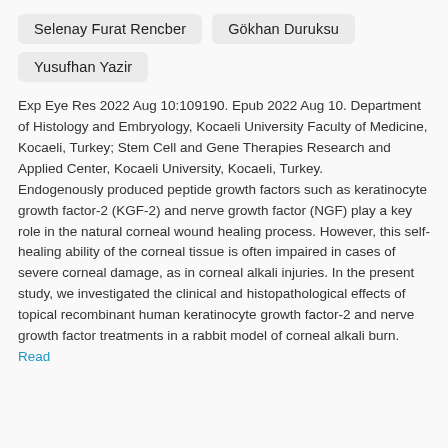Selenay Furat Rencber
Gökhan Duruksu
Yusufhan Yazir
Exp Eye Res 2022 Aug 10:109190. Epub 2022 Aug 10. Department of Histology and Embryology, Kocaeli University Faculty of Medicine, Kocaeli, Turkey; Stem Cell and Gene Therapies Research and Applied Center, Kocaeli University, Kocaeli, Turkey. Endogenously produced peptide growth factors such as keratinocyte growth factor-2 (KGF-2) and nerve growth factor (NGF) play a key role in the natural corneal wound healing process. However, this self-healing ability of the corneal tissue is often impaired in cases of severe corneal damage, as in corneal alkali injuries. In the present study, we investigated the clinical and histopathological effects of topical recombinant human keratinocyte growth factor-2 and nerve growth factor treatments in a rabbit model of corneal alkali burn. Read